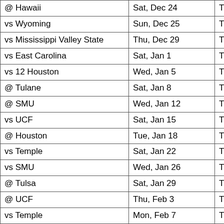| Opponent | Date | Time |
| --- | --- | --- |
| @ Hawaii | Sat, Dec 24 | TBD |
| vs Wyoming | Sun, Dec 25 | TBD |
| vs Mississippi Valley State | Thu, Dec 29 | TBD |
| vs East Carolina | Sat, Jan 1 | TBD |
| vs 12 Houston | Wed, Jan 5 | TBD |
| @ Tulane | Sat, Jan 8 | TBD |
| @ SMU | Wed, Jan 12 | TBD |
| vs UCF | Sat, Jan 15 | TBD |
| @ Houston | Tue, Jan 18 | TBD |
| vs Temple | Sat, Jan 22 | TBD |
| vs SMU | Wed, Jan 26 | TBD |
| @ Tulsa | Sat, Jan 29 | TBD |
| @ UCF | Thu, Feb 3 | TBD |
| vs Temple | Mon, Feb 7 | TBD |
| vs Cincinnati | Wed, Feb 9 | TBD |
| @ Wichita State | Sat, Feb 12 | TBD |
| vs Tulane | Tue, Feb 15 | TBD |
| vs East Carolina | Thu, Feb 17 | TBD |
| vs Tulsa | Sat, Feb 19 | TBD |
| @ East Carolina | Wed, Feb 23 | TBD |
| @ Cincinnati | Sat, Feb 26 | TBD |